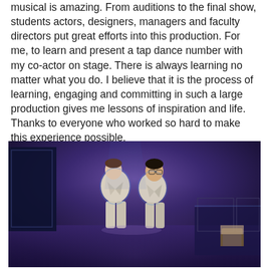musical is amazing. From auditions to the final show, students actors, designers, managers and faculty directors put great efforts into this production. For me, to learn and present a tap dance number with my co-actor on stage. There is always learning no matter what you do. I believe that it is the process of learning, engaging and committing in such a large production gives me lessons of inspiration and life. Thanks to everyone who worked so hard to make this experience possible.
[Figure (photo): Two young men in white suits standing back-to-back on a stage with blue lighting and theatrical set pieces including a chair in the background.]